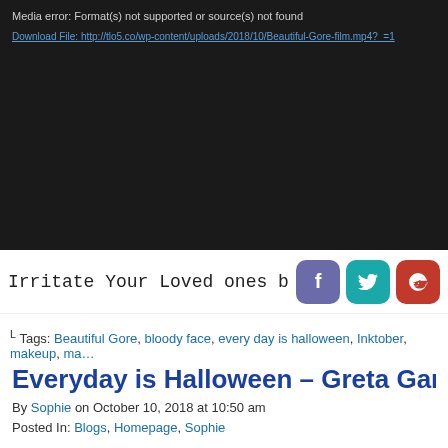[Figure (screenshot): Media player error screen: dark background with 'Media error: Format(s) not supported or source(s) not found' message and a download link in blue]
Irritate Your Loved ones by Sharing
Tags: Beautiful Gore, bloody face, every day is halloween, Inktober, makeup, ma…
Everyday is Halloween – Greta Garbo
By Sophie on October 10, 2018 at 10:50 am
Posted In: Blogs, Homepage, Sophie